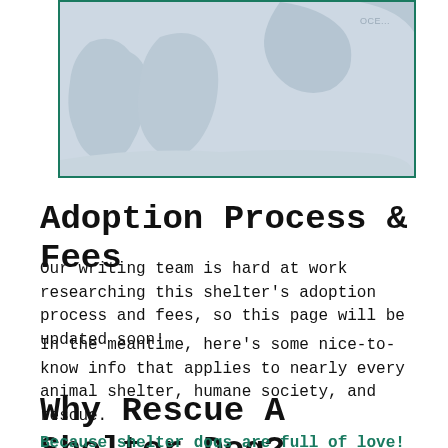[Figure (map): Partial world map screenshot with light blue-gray ocean and land masses, green border, showing 'OCE...' label in top right corner]
Adoption Process & Fees
Our writing team is hard at work researching this shelter's adoption process and fees, so this page will be updated soon!
In the meantime, here's some nice-to-know info that applies to nearly every animal shelter, humane society, and rescue.
Why Rescue A Shelter Dog?
Because shelter dogs are full of love!